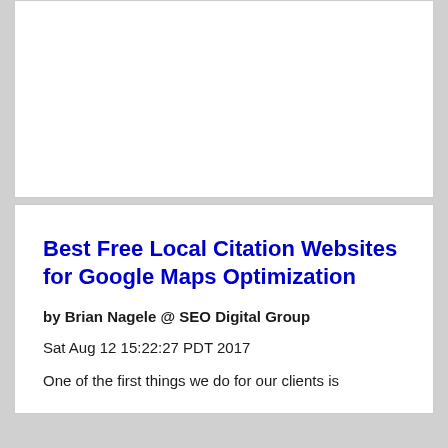[Figure (other): White empty card placeholder area at the top of the page]
Best Free Local Citation Websites for Google Maps Optimization
by Brian Nagele @ SEO Digital Group
Sat Aug 12 15:22:27 PDT 2017
One of the first things we do for our clients is